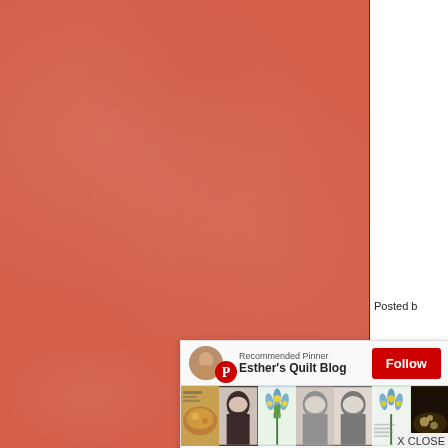[Figure (screenshot): Screenshot of a Pinterest 'Recommended Pinner' overlay popup showing Esther's Quilt Blog with a Follow button and thumbnail images of food, hairstyles, and flowers, overlaid on an orange-red textured background with a white panel on the right showing 'Posted b'.]
Posted b
Recommended Pinner
Esther's Quilt Blog
Follow
X CLOSE